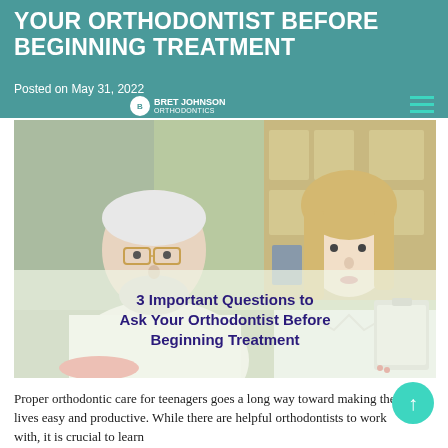YOUR ORTHODONTIST BEFORE BEGINNING TREATMENT
Posted on May 31, 2022
[Figure (photo): An older male orthodontist with white beard and glasses standing next to a young blonde female dental assistant in a white coat holding a clipboard, in a dental office setting. Overlaid text reads: 3 Important Questions to Ask Your Orthodontist Before Beginning Treatment]
Proper orthodontic care for teenagers goes a long way toward making their lives easy and productive. While there are helpful orthodontists to work with, it is crucial to learn